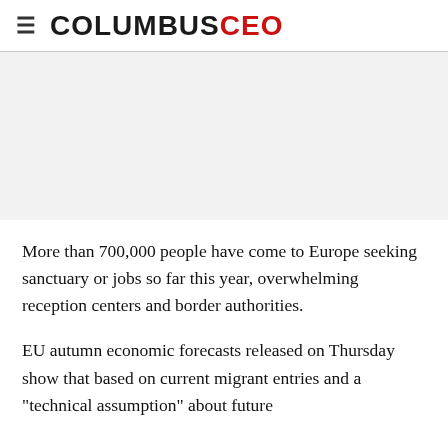COLUMBUSCEO
[Figure (other): Gray advertisement placeholder banner]
More than 700,000 people have come to Europe seeking sanctuary or jobs so far this year, overwhelming reception centers and border authorities.
EU autumn economic forecasts released on Thursday show that based on current migrant entries and a "technical assumption" about future